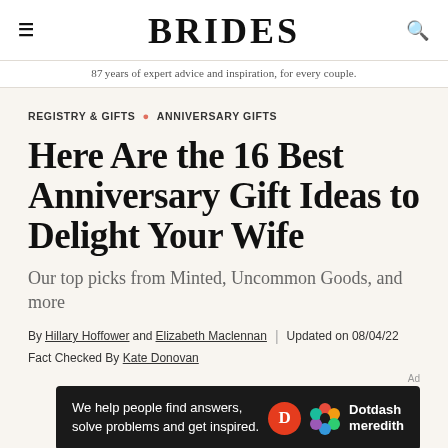BRIDES
87 years of expert advice and inspiration, for every couple.
REGISTRY & GIFTS • ANNIVERSARY GIFTS
Here Are the 16 Best Anniversary Gift Ideas to Delight Your Wife
Our top picks from Minted, Uncommon Goods, and more
By Hillary Hoffower and Elizabeth Maclennan | Updated on 08/04/22
Fact Checked By Kate Donovan
[Figure (screenshot): Dotdash Meredith advertisement banner: 'We help people find answers, solve problems and get inspired.' with Dotdash Meredith logo]